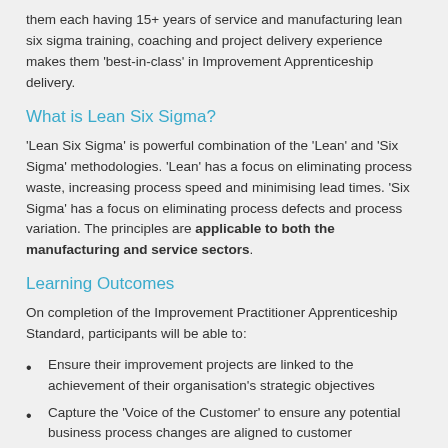them each having 15+ years of service and manufacturing lean six sigma training, coaching and project delivery experience makes them 'best-in-class' in Improvement Apprenticeship delivery.
What is Lean Six Sigma?
'Lean Six Sigma' is powerful combination of the 'Lean' and 'Six Sigma' methodologies. 'Lean' has a focus on eliminating process waste, increasing process speed and minimising lead times. 'Six Sigma' has a focus on eliminating process defects and process variation. The principles are applicable to both the manufacturing and service sectors.
Learning Outcomes
On completion of the Improvement Practitioner Apprenticeship Standard, participants will be able to:
Ensure their improvement projects are linked to the achievement of their organisation's strategic objectives
Capture the 'Voice of the Customer' to ensure any potential business process changes are aligned to customer requirements